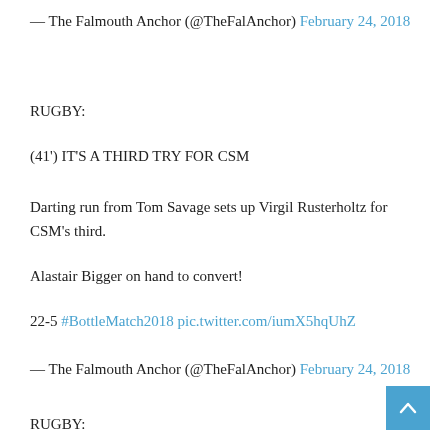— The Falmouth Anchor (@TheFalAnchor) February 24, 2018
RUGBY:
(41') IT'S A THIRD TRY FOR CSM
Darting run from Tom Savage sets up Virgil Rusterholtz for CSM's third.
Alastair Bigger on hand to convert!
22-5 #BottleMatch2018 pic.twitter.com/iumX5hqUhZ
— The Falmouth Anchor (@TheFalAnchor) February 24, 2018
RUGBY: